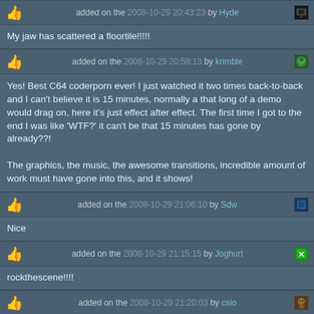added on the 2008-10-29 20:43:23 by Hyde
My jaw has scattered a floortile!!!!!
added on the 2008-10-29 20:58:13 by krimble
Yes! Best C64 coderporn ever! I just watched it two times back-to-back and I can't believe it is 15 minutes, normally a that long of a demo would drag on, here it's just effect after effect. The first time I got to the end I was like 'WTF?' it can't be that 15 minutes has gone by already??!

The graphics, the music, the awesome transitions, incredible amount of work must have gone into this, and it shows!
added on the 2008-10-29 21:06:10 by Sdw
Nice
added on the 2008-10-29 21:15:15 by Joghurt
rockthescene!!!!
added on the 2008-10-29 21:20:03 by csio